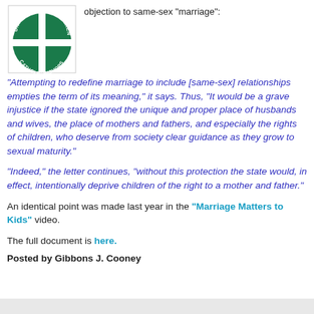[Figure (logo): United States Conference of Catholic Bishops circular logo with green cross on white background]
objection to same-sex "marriage":
"Attempting to redefine marriage to include [same-sex] relationships empties the term of its meaning," it says. Thus, "It would be a grave injustice if the state ignored the unique and proper place of husbands and wives, the place of mothers and fathers, and especially the rights of children, who deserve from society clear guidance as they grow to sexual maturity."
"Indeed," the letter continues, "without this protection the state would, in effect, intentionally deprive children of the right to a mother and father."
An identical point was made last year in the "Marriage Matters to Kids" video.
The full document is here.
Posted by Gibbons J. Cooney